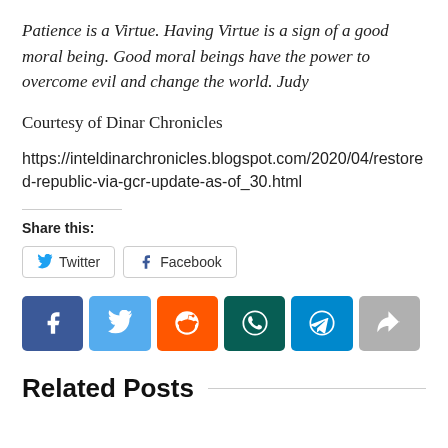Patience is a Virtue. Having Virtue is a sign of a good moral being. Good moral beings have the power to overcome evil and change the world. Judy
Courtesy of Dinar Chronicles
https://inteldinarchronicles.blogspot.com/2020/04/restored-republic-via-gcr-update-as-of_30.html
Share this:
[Figure (infographic): Share buttons row: Twitter and Facebook buttons with icons and labels]
[Figure (infographic): Social media icon buttons row: Facebook (dark blue), Twitter (light blue), Reddit (orange), WhatsApp (dark teal), Telegram (blue), Share (gray)]
Related Posts